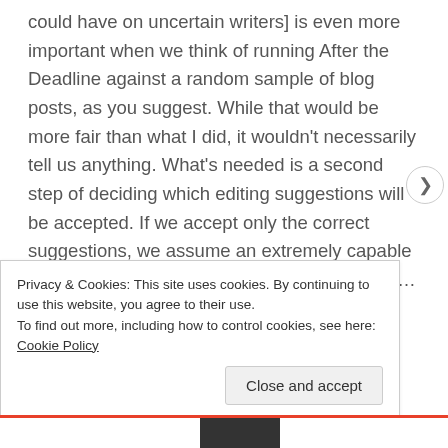could have on uncertain writers] is even more important when we think of running After the Deadline against a random sample of blog posts, as you suggest. While that would be more fair than what I did, it wouldn't necessarily tell us anything. What's needed is a second step of deciding which editing suggestions will be accepted. If we accept only the correct suggestions, we assume an extremely capable author who is therefore not in need of the program. As the threshold
Privacy & Cookies: This site uses cookies. By continuing to use this website, you agree to their use.
To find out more, including how to control cookies, see here: Cookie Policy
Close and accept